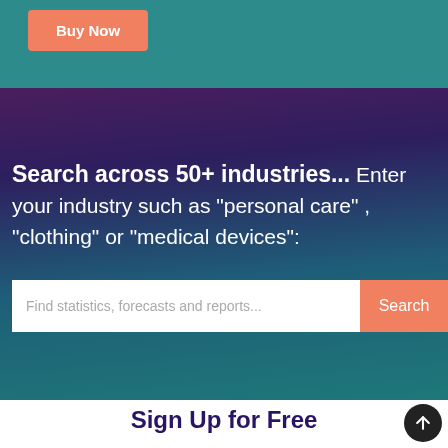Buy Now
Search across 50+ industries... Enter your industry such as "personal care" , "clothing" or "medical devices":
Find statistics, forecasts and reports...
Search
Sign Up for Free